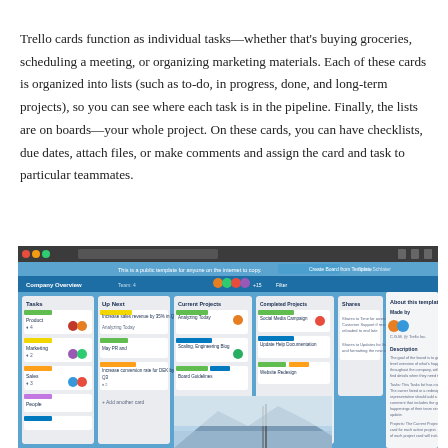Trello cards function as individual tasks—whether that's buying groceries, scheduling a meeting, or organizing marketing materials. Each of these cards is organized into lists (such as to-do, in progress, done, and long-term projects), so you can see where each task is in the pipeline. Finally, the lists are on boards—your whole project. On these cards, you can have checklists, due dates, attach files, or make comments and assign the card and task to particular teammates.
[Figure (screenshot): Screenshot of the Trello web application showing a Company Overview board with multiple lists (Tasks, Up Next, Current Projects, Completed Projects, Shares) and cards within each list, along with an 'About this template' panel on the right side.]